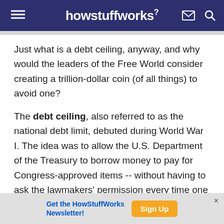howstuffworks
Just what is a debt ceiling, anyway, and why would the leaders of the Free World consider creating a trillion-dollar coin (of all things) to avoid one?
The debt ceiling, also referred to as the national debt limit, debuted during World War I. The idea was to allow the U.S. Department of the Treasury to borrow money to pay for Congress-approved items -- without having to ask the lawmakers' permission every time one of these purchases took place.
[Figure (screenshot): Advertisement banner: Get the HowStuffWorks Newsletter! with Sign Up button]